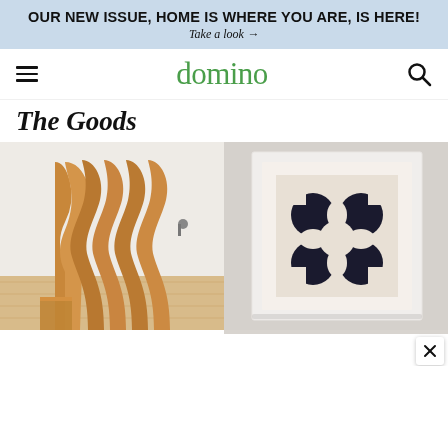OUR NEW ISSUE, HOME IS WHERE YOU ARE, IS HERE! Take a look →
[Figure (logo): Domino magazine logo with hamburger menu and search icon navigation bar]
The Goods
[Figure (photo): A wavy wooden room divider or folding screen made of light wood, standing on a light wood floor against a white wall]
[Figure (photo): A framed artwork showing a black and white abstract clover/flower geometric pattern on beige background, in a white frame]